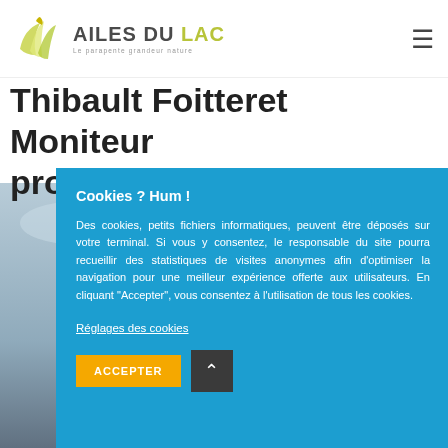[Figure (logo): Ailes du Lac logo with stylized wing/leaf graphic and tagline 'Le parapente grandeur nature']
Thibault Foitteret Moniteur professionnel
[Figure (photo): Person seen from behind against a cloudy sky background]
Cookies ? Hum !
Des cookies, petits fichiers informatiques, peuvent être déposés sur votre terminal. Si vous y consentez, le responsable du site pourra recueillir des statistiques de visites anonymes afin d'optimiser la navigation pour une meilleur expérience offerte aux utilisateurs. En cliquant "Accepter", vous consentez à l'utilisation de tous les cookies.
Réglages des cookies
ACCEPTER